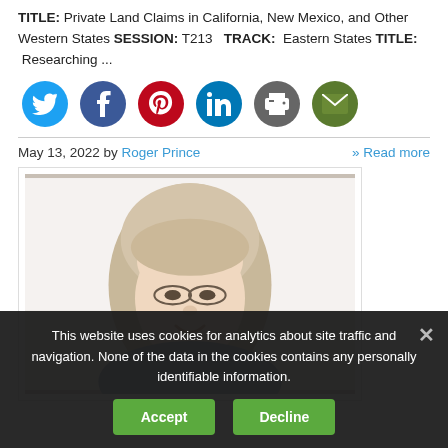TITLE: Private Land Claims in California, New Mexico, and Other Western States SESSION: T213   TRACK:  Eastern States TITLE:  Researching ...
[Figure (other): Row of six social media sharing icons: Twitter (blue), Facebook (dark blue), Pinterest (red), LinkedIn (blue), Print (gray), Email (green)]
May 13, 2022 by Roger Prince   » Read more
[Figure (photo): Photo of an older woman with shoulder-length gray-blonde hair and glasses, smiling, shown from shoulders up against a white background inside a white-bordered frame.]
This website uses cookies for analytics about site traffic and navigation. None of the data in the cookies contains any personally identifiable information.